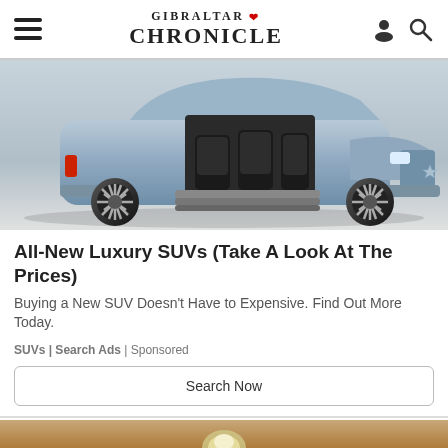Gibraltar Chronicle
[Figure (photo): A luxury SUV (Lincoln Navigator concept) with open suicide doors revealing black leather interior seats, shot from the side on a light background. The vehicle is steel blue/silver in color with large turbine-style wheels.]
All-New Luxury SUVs (Take A Look At The Prices)
Buying a New SUV Doesn't Have to Expensive. Find Out More Today.
SUVs | Search Ads | Sponsored
Search Now
[Figure (photo): Partial view of a light bulb on a warm tan/brown background, just the top portion visible.]